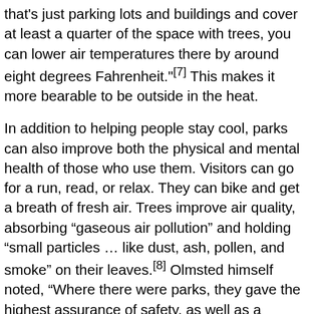that's just parking lots and buildings and cover at least a quarter of the space with trees, you can lower air temperatures there by around eight degrees Fahrenheit."[7] This makes it more bearable to be outside in the heat.
In addition to helping people stay cool, parks can also improve both the physical and mental health of those who use them. Visitors can go for a run, read, or relax. They can bike and get a breath of fresh air. Trees improve air quality, absorbing “gaseous air pollution” and holding “small particles … like dust, ash, pollen, and smoke” on their leaves.[8] Olmsted himself noted, “Where there were parks, they gave the highest assurance of safety, as well as a grateful sense of peculiarly fresh and pure air.”[9] As